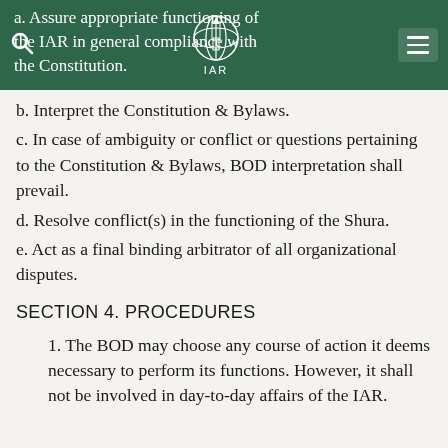a. Assure appropriate functioning of the IAR in general compliance with the Constitution.
b. Interpret the Constitution & Bylaws.
c. In case of ambiguity or conflict or questions pertaining to the Constitution & Bylaws, BOD interpretation shall prevail.
d. Resolve conflict(s) in the functioning of the Shura.
e. Act as a final binding arbitrator of all organizational disputes.
SECTION 4. PROCEDURES
1. The BOD may choose any course of action it deems necessary to perform its functions. However, it shall not be involved in day-to-day affairs of the IAR.